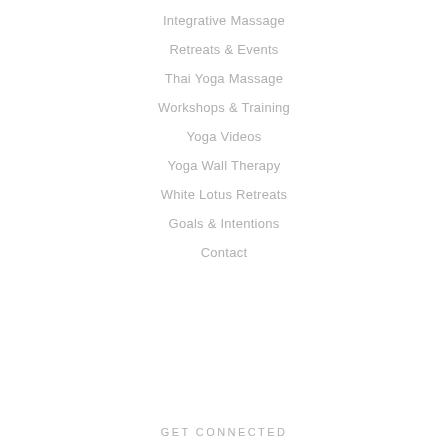Integrative Massage
Retreats & Events
Thai Yoga Massage
Workshops & Training
Yoga Videos
Yoga Wall Therapy
White Lotus Retreats
Goals & Intentions
Contact
GET CONNECTED